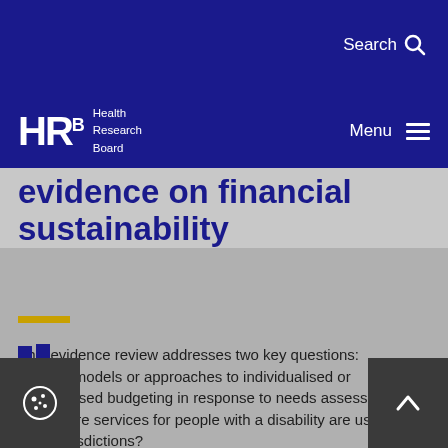Search
HRB Health Research Board Menu
evidence on financial sustainability
This evidence review addresses two key questions: 1. What models or approaches to individualised or personalised budgeting in response to needs assessment for social care services for people with a disability are used in other jurisdictions? 2. What is the evidence on the financial sustainability of different...